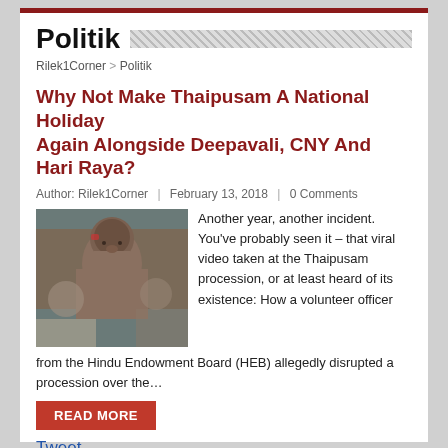Politik
Rilek1Corner > Politik
Why Not Make Thaipusam A National Holiday Again Alongside Deepavali, CNY And Hari Raya?
Author: Rilek1Corner | February 13, 2018 | 0 Comments
[Figure (photo): A shirtless man with a red mark on his forehead, surrounded by other people, at what appears to be a Thaipusam procession.]
Another year, another incident. You've probably seen it – that viral video taken at the Thaipusam procession, or at least heard of its existence: How a volunteer officer from the Hindu Endowment Board (HEB) allegedly disrupted a procession over the…
READ MORE
Tweet
Agama, Politik, Singapursku, Social
ban, Hindu Endowment Board, musical